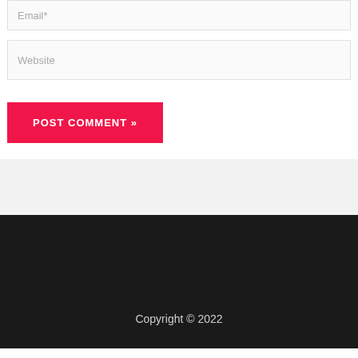Email*
Website
POST COMMENT »
Copyright © 2022